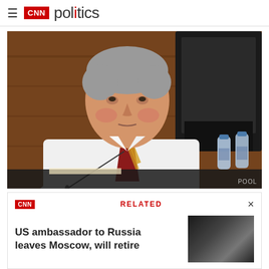CNN politics
[Figure (photo): A middle-aged man with gray hair in a white shirt and striped tie sitting at what appears to be a Senate hearing, with a black monitor and water bottles in the background. Photo credit: POOL]
POOL
CNN   RELATED   ×
US ambassador to Russia leaves Moscow, will retire